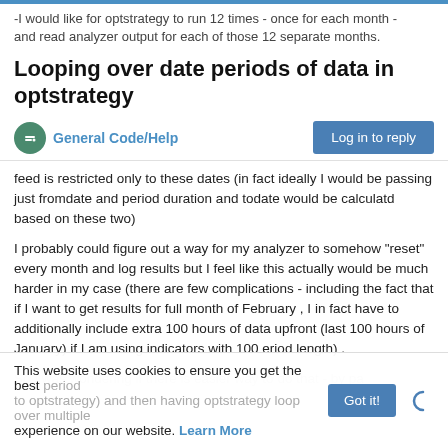-I would like for optstrategy to run 12 times - once for each month - and read analyzer output for each of those 12 separate months.
Looping over date periods of data in optstrategy
General Code/Help
Log in to reply
feed is restricted only to these dates (in fact ideally I would be passing just fromdate and period duration and todate would be calculatd based on these two)
I probably could figure out a way for my analyzer to somehow "reset" every month and log results but I feel like this actually would be much harder in my case (there are few complications - including the fact that if I want to get results for full month of February , I in fact have to additionally include extra 100 hours of data upfront (last 100 hours of January) if I am using indicators with 100 eriod length) .
So I was wondering if there is easier way to do that - by pa...
This website uses cookies to ensure you get the best experience on our website. Learn More